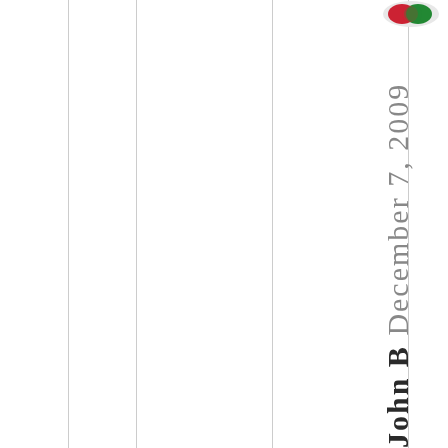[Figure (logo): Small circular logo with red and green colors at top right]
John B December 7, 2009